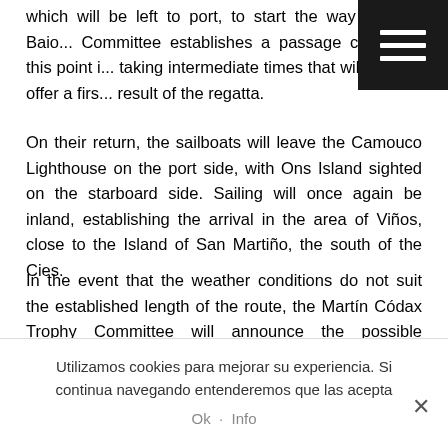...wound Estuary will take place at the final buoy of 1 Por, which will be left to port, to start the way back to Baio... Committee establishes a passage control at this point i... taking intermediate times that will already offer a firs... result of the regatta.
On their return, the sailboats will leave the Camouco Lighthouse on the port side, with Ons Island sighted on the starboard side. Sailing will once again be inland, establishing the arrival in the area of Viños, close to the Island of San Martiño, the south of the Cies.
In the event that the weather conditions do not suit the established length of the route, the Martín Códax Trophy Committee will announce the possible alternatives at the start, which will be presented next Friday to all participants at the official reception that the Bayonne Yacht Club offers, at eight in
Utilizamos cookies para mejorar su experiencia. Si continua navegando entenderemos que las acepta
Ok · Info